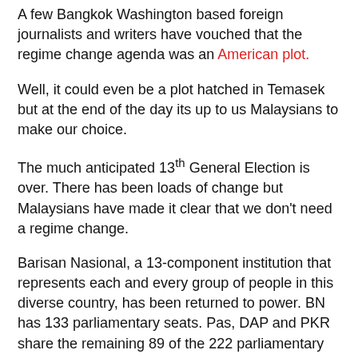A few Bangkok Washington based foreign journalists and writers have vouched that the regime change agenda was an American plot.
Well, it could even be a plot hatched in Temasek but at the end of the day its up to us Malaysians to make our choice.
The much anticipated 13th General Election is over. There has been loads of change but Malaysians have made it clear that we don't need a regime change.
Barisan Nasional, a 13-component institution that represents each and every group of people in this diverse country, has been returned to power. BN has 133 parliamentary seats. Pas, DAP and PKR share the remaining 89 of the 222 parliamentary seats. That's the final count.